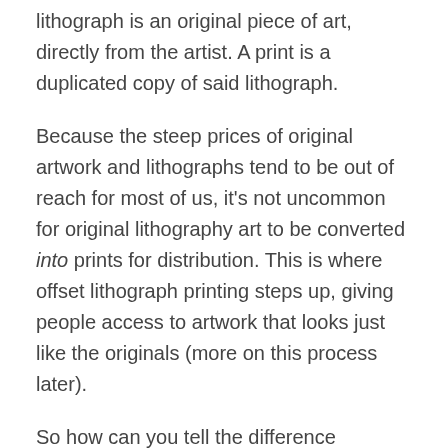lithograph is an original piece of art, directly from the artist. A print is a duplicated copy of said lithograph.
Because the steep prices of original artwork and lithographs tend to be out of reach for most of us, it's not uncommon for original lithography art to be converted into prints for distribution. This is where offset lithograph printing steps up, giving people access to artwork that looks just like the originals (more on this process later).
So how can you tell the difference between an original lithograph vs. print versions?
Discoloration – Search for the tell-tale signs of chemical oxidation and imperfections in an area